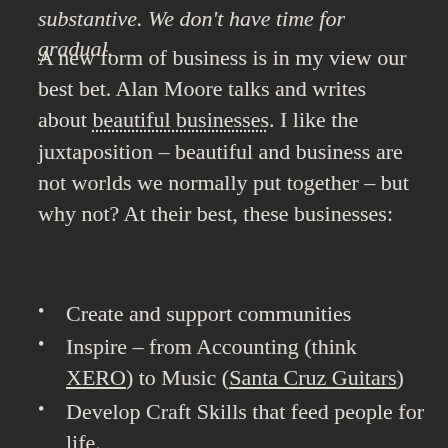substantive. We don't have time for gradual.
A new form of business is in my view our best bet. Alan Moore talks and writes about beautiful businesses. I like the juxtaposition – beautiful and business are not worlds we normally put together – but why not? At their best, these businesses:
Create and support communities
Inspire – from Accounting (think XERO) to Music (Santa Cruz Guitars)
Develop Craft Skills that feed people for life.
Help heal the world, not exploit it.